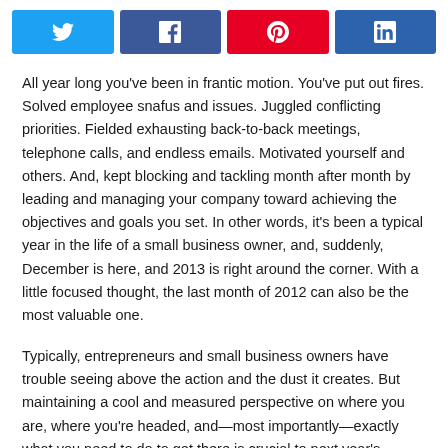[Figure (other): Social media share buttons: Twitter (blue), Facebook (dark blue), Pinterest (red), LinkedIn (dark blue)]
All year long you've been in frantic motion. You've put out fires. Solved employee snafus and issues. Juggled conflicting priorities. Fielded exhausting back-to-back meetings, telephone calls, and endless emails. Motivated yourself and others. And, kept blocking and tackling month after month by leading and managing your company toward achieving the objectives and goals you set. In other words, it's been a typical year in the life of a small business owner, and, suddenly, December is here, and 2013 is right around the corner. With a little focused thought, the last month of 2012 can also be the most valuable one.
Typically, entrepreneurs and small business owners have trouble seeing above the action and the dust it creates. But maintaining a cool and measured perspective on where you are, where you're headed, and—most importantly—exactly what you need to do to get there is crucial to next year's success. It pays to step back and reevaluate your market and your company's place in it by making sure your practices are in line with 'the